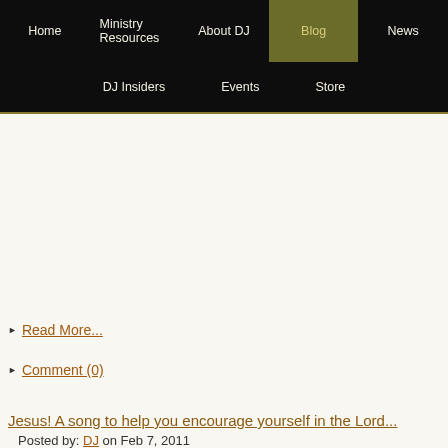Home | Ministry Resources | About DJ | Blog | News | DJ Insiders | Events | Store
Read More...
Comment (0)
Jesus! A song to help you encourage yourself in the Lord...
Posted by: DJ on Feb 7, 2011